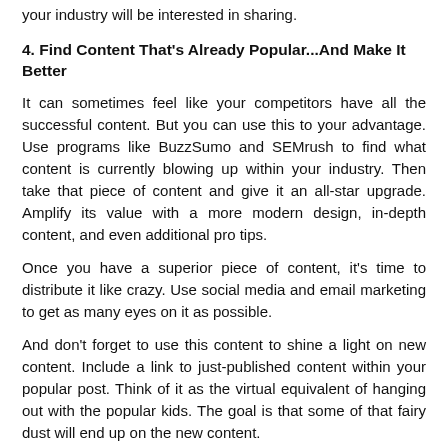your industry will be interested in sharing.
4. Find Content That's Already Popular...And Make It Better
It can sometimes feel like your competitors have all the successful content. But you can use this to your advantage. Use programs like BuzzSumo and SEMrush to find what content is currently blowing up within your industry. Then take that piece of content and give it an all-star upgrade. Amplify its value with a more modern design, in-depth content, and even additional pro tips.
Once you have a superior piece of content, it's time to distribute it like crazy. Use social media and email marketing to get as many eyes on it as possible.
And don't forget to use this content to shine a light on new content. Include a link to just-published content within your popular post. Think of it as the virtual equivalent of hanging out with the popular kids. The goal is that some of that fairy dust will end up on the new content.
5. Focus on Big Pieces of Content
One large, high quality piece of content is going to outperform 10